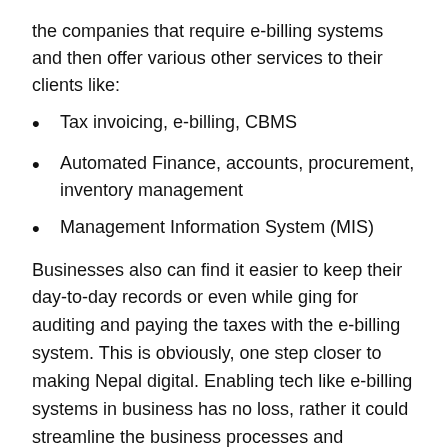the companies that require e-billing systems and then offer various other services to their clients like:
Tax invoicing, e-billing, CBMS
Automated Finance, accounts, procurement, inventory management
Management Information System (MIS)
Businesses also can find it easier to keep their day-to-day records or even while ging for auditing and paying the taxes with the e-billing system. This is obviously, one step closer to making Nepal digital. Enabling tech like e-billing systems in business has no loss, rather it could streamline the business processes and increase efficiency by cutting many costs.